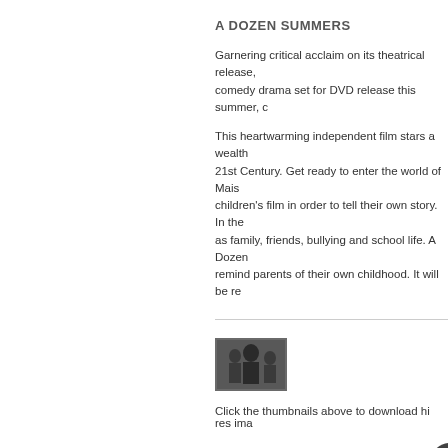A DOZEN SUMMERS
Garnering critical acclaim on its theatrical release, comedy drama set for DVD release this summer, c
This heartwarming independent film stars a wealth 21st Century. Get ready to enter the world of Mais children's film in order to tell their own story. In the as family, friends, bullying and school life. A Dozen remind parents of their own childhood. It will be re
[Figure (photo): Thumbnail image from A Dozen Summers film]
Click the thumbnails above to download hi res ima
DOWNLOAD PRESS RELEASE
GRACE OF MY HEART
Inspired by the life of internationally renowned sing Heart, arrives on DVD on 15 August 2016, following Hyde Park, her first performance in London in 30 y The Carole King Musical, still selling out in Londo
Featuring a stellar cast, a stunning soundtrack and all the right notes as it charts the inspirational story the dynamic American music scene of the 60s and